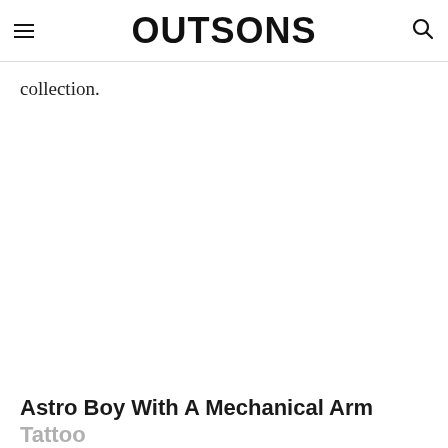OUTSONS
collection.
[Figure (photo): Large white/blank image placeholder area for an article about Astro Boy tattoo]
Astro Boy With A Mechanical Arm Tattoo